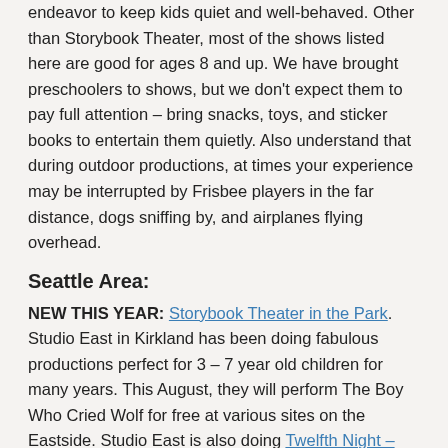endeavor to keep kids quiet and well-behaved. Other than Storybook Theater, most of the shows listed here are good for ages 8 and up. We have brought preschoolers to shows, but we don't expect them to pay full attention – bring snacks, toys, and sticker books to entertain them quietly. Also understand that during outdoor productions, at times your experience may be interrupted by Frisbee players in the far distance, dogs sniffing by, and airplanes flying overhead.
Seattle Area:
NEW THIS YEAR: Storybook Theater in the Park. Studio East in Kirkland has been doing fabulous productions perfect for 3 – 7 year old children for many years. This August, they will perform The Boy Who Cried Wolf for free at various sites on the Eastside. Studio East is also doing Twelfth Night – Shakespeare in the Park featuring teen actors, on June 18 – 20 at Juanita Beach Park in Kirkland. Free.